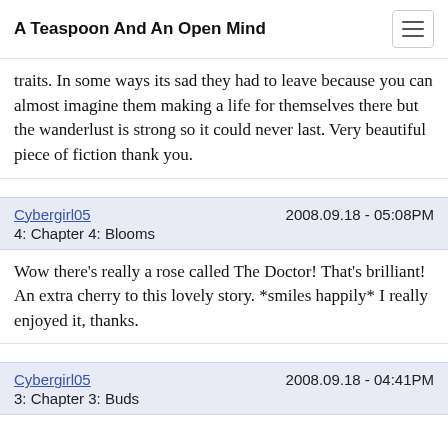A Teaspoon And An Open Mind
traits. In some ways its sad they had to leave because you can almost imagine them making a life for themselves there but the wanderlust is strong so it could never last. Very beautiful piece of fiction thank you.
Cybergirl05    2008.09.18 - 05:08PM
4: Chapter 4: Blooms
Wow there's really a rose called The Doctor! That's brilliant! An extra cherry to this lovely story. *smiles happily* I really enjoyed it, thanks.
Cybergirl05    2008.09.18 - 04:41PM
3: Chapter 3: Buds